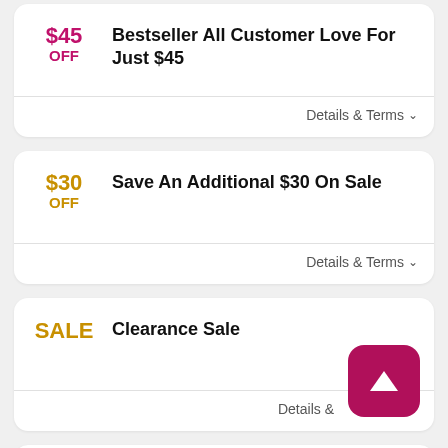$45 OFF
Bestseller All Customer Love For Just $45
Details & Terms ∨
$30 OFF
Save An Additional $30 On Sale
Details & Terms ∨
SALE
Clearance Sale
Details &